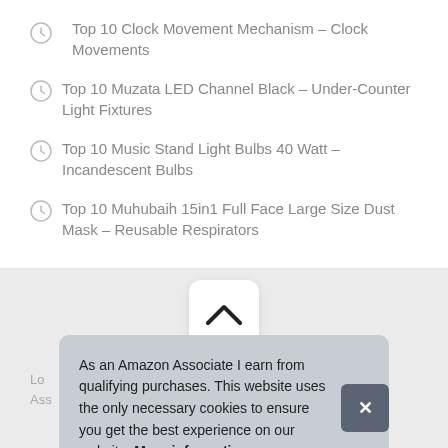Top 10 Clock Movement Mechanism – Clock Movements
Top 10 Muzata LED Channel Black – Under-Counter Light Fixtures
Top 10 Music Stand Light Bulbs 40 Watt – Incandescent Bulbs
Top 10 Muhubaih 15in1 Full Face Large Size Dust Mask – Reusable Respirators
[Figure (other): Scroll-to-top button with chevron up arrow]
Lo... Ass...
As an Amazon Associate I earn from qualifying purchases. This website uses the only necessary cookies to ensure you get the best experience on our website. More information
advertising and linking to Amazon.com.